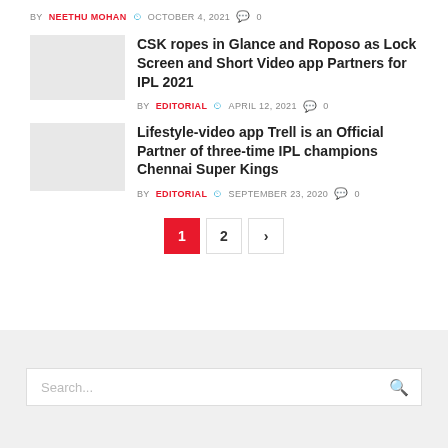BY NEETHU MOHAN  OCTOBER 4, 2021  0
[Figure (photo): Thumbnail image placeholder for CSK article]
CSK ropes in Glance and Roposo as Lock Screen and Short Video app Partners for IPL 2021
BY EDITORIAL  APRIL 12, 2021  0
[Figure (photo): Thumbnail image placeholder for Trell article]
Lifestyle-video app Trell is an Official Partner of three-time IPL champions Chennai Super Kings
BY EDITORIAL  SEPTEMBER 23, 2020  0
1  2  >
Search...